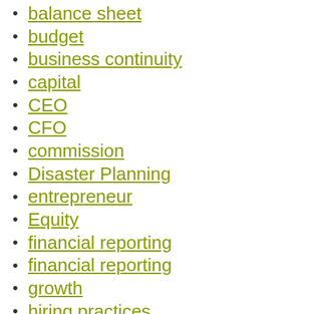balance sheet
budget
business continuity
capital
CEO
CFO
commission
Disaster Planning
entrepreneur
Equity
financial reporting
financial reporting
growth
hiring practices